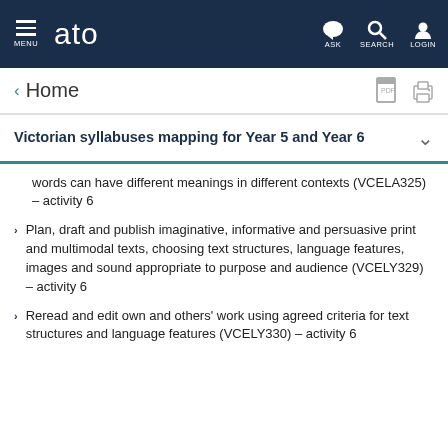MENU | ato | ASK | SEARCH | LOGIN
< Home
Victorian syllabuses mapping for Year 5 and Year 6
words can have different meanings in different contexts (VCELA325) – activity 6
Plan, draft and publish imaginative, informative and persuasive print and multimodal texts, choosing text structures, language features, images and sound appropriate to purpose and audience (VCELY329) – activity 6
Reread and edit own and others' work using agreed criteria for text structures and language features (VCELY330) – activity 6